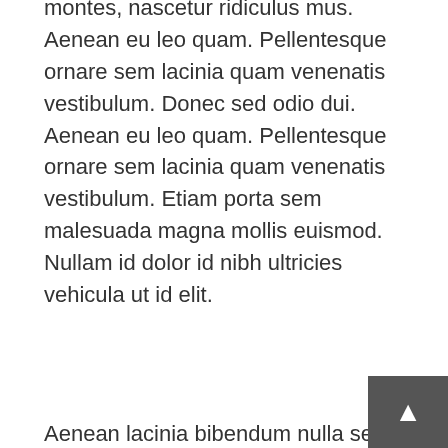Cum sociis natoque penatibus et magnis dis parturient montes, nascetur ridiculus mus. Aenean eu leo quam. Pellentesque ornare sem lacinia quam venenatis vestibulum. Donec sed odio dui. Aenean eu leo quam. Pellentesque ornare sem lacinia quam venenatis vestibulum. Etiam porta sem malesuada magna mollis euismod. Nullam id dolor id nibh ultricies vehicula ut id elit.
Aenean lacinia bibendum nulla sed consectetur. Donec sed odio dui. Maecenas sed diam eget risus varius blandit sit amet non magna. Maecenas sed diam eget risus varius blandit sit amet non magna. Vestibulum id ligula porta felis euismod semper. Nullam quis risus eget urna mollis ornare vel eu leo. Nullam id dolor id nibh ultricies vehicula ut id elit.
Cum sociis natoque penatibus et magnis dis parturient montes, nascetur ridiculus mus. Aenean eu leo quam. Pellentesque ornare sem lacinia quam venenatis